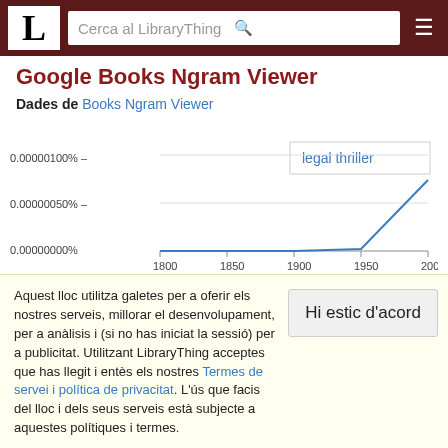LibraryThing — Cerca al LibraryThing
Google Books Ngram Viewer
Dades de Books Ngram Viewer
[Figure (line-chart): Google Books Ngram Viewer]
Aquest lloc utilitza galetes per a oferir els nostres serveis, millorar el desenvolupament, per a anàlisis i (si no has iniciat la sessió) per a publicitat. Utilitzant LibraryThing acceptes que has llegit i entès els nostres Termes de servei i política de privacitat. L'ús que facis del lloc i dels seus serveis està subjecte a aquestes polítiques i termes.
Hi estic d'acord